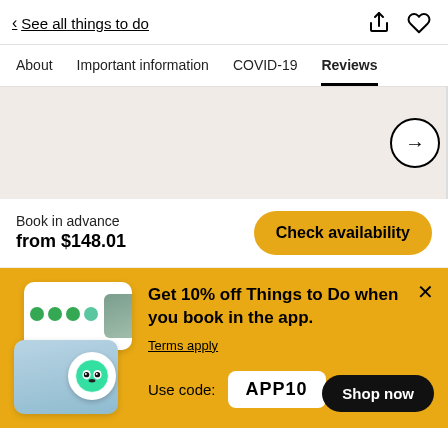< See all things to do
About | Important information | COVID-19 | Reviews
[Figure (photo): Photo gallery area with beige background, two panels separated by a vertical line, and a circular next arrow button on the right]
Book in advance
from $148.01
Check availability
Get 10% off Things to Do when you book in the app.
Terms apply
Use code: APP10
Shop now